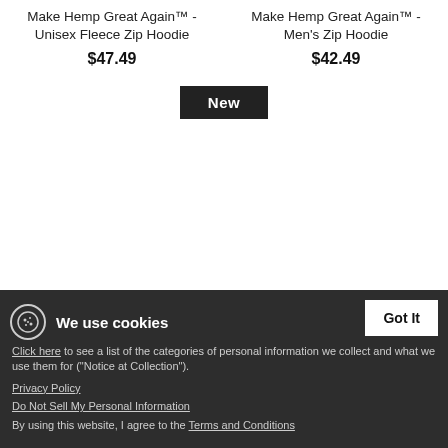Make Hemp Great Again™ - Unisex Fleece Zip Hoodie
$47.49
Make Hemp Great Again™ - Men's Zip Hoodie
$42.49
New
Make Hemp Great Again™ GREEN - Unisex Fleece Zip Hoodie
$47.49
Make Hemp Great Again™ GREEN - Men's Zip Hoodie
$42.49
We use cookies
Click here to see a list of the categories of personal information we collect and what we use them for ("Notice at Collection").
Privacy Policy
Do Not Sell My Personal Information
By using this website, I agree to the Terms and Conditions
Got It